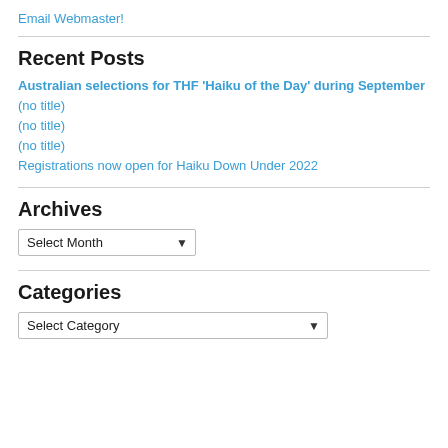Email Webmaster!
Recent Posts
Australian selections for THF ‘Haiku of the Day’ during September
(no title)
(no title)
(no title)
Registrations now open for Haiku Down Under 2022
Archives
Select Month
Categories
Select Category